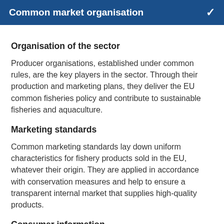Common market organisation
Organisation of the sector
Producer organisations, established under common rules, are the key players in the sector. Through their production and marketing plans, they deliver the EU common fisheries policy and contribute to sustainable fisheries and aquaculture.
Marketing standards
Common marketing standards lay down uniform characteristics for fishery products sold in the EU, whatever their origin. They are applied in accordance with conservation measures and help to ensure a transparent internal market that supplies high-quality products.
Consumer information